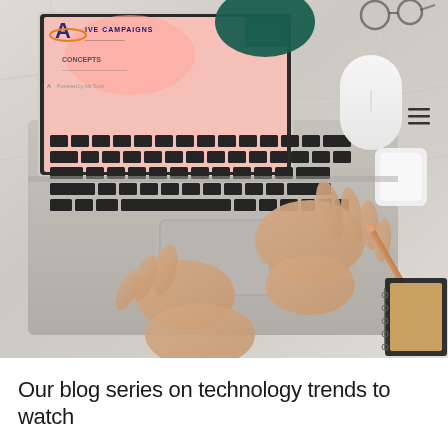[Figure (photo): Overhead view of a person's hands on a MacBook laptop keyboard on a marble desk surface. The laptop screen shows a colorful design with a logo and text including 'CREATIVE CAMPAIGNS' and 'CONCEPTS'. To the right of the laptop are a white wireless mouse, white AirPods case, a pencil, a black wire notebook holder, and a pair of glasses.]
Our blog series on technology trends to watch